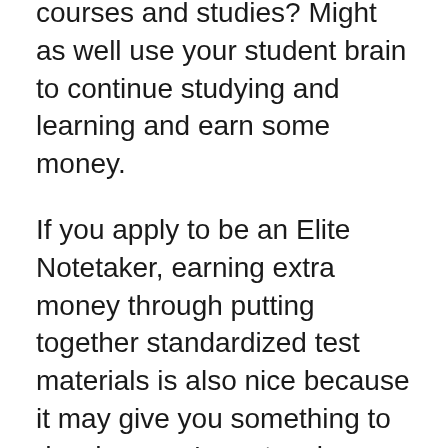something that's directly tied to your courses and studies? Might as well use your student brain to continue studying and learning and earn some money.
If you apply to be an Elite Notetaker, earning extra money through putting together standardized test materials is also nice because it may give you something to do when you’re not as busy.
The reviewers who had a tough time using the site noted that StudySoup’s customer service was slow to respond or they did not get their payment on time. Users also mentioned that some of the requirements to...